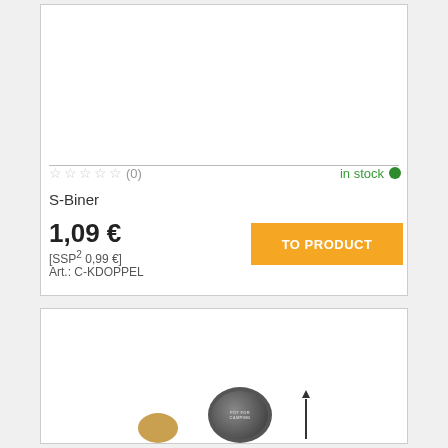[Figure (other): Product card for S-Biner with star ratings, in stock indicator, price, SSP price, article number, and orange TO PRODUCT button]
☆☆☆☆☆ (0)
in stock
S-Biner
1,09 €
[SSP² 0,99 €]
Art.: C-KDOPPEL
[Figure (photo): Partial view of product images including a circular black medallion/coin and a gold-colored circular item, with an upward arrow indicator]